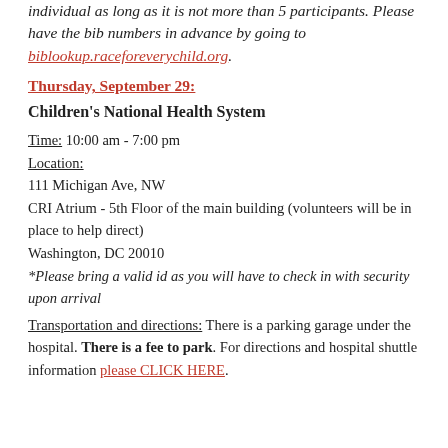individual as long as it is not more than 5 participants. Please have the bib numbers in advance by going to biblookup.raceforeverychild.org.
Thursday, September 29:
Children's National Health System
Time: 10:00 am - 7:00 pm
Location:
111 Michigan Ave, NW
CRI Atrium - 5th Floor of the main building (volunteers will be in place to help direct)
Washington, DC 20010
*Please bring a valid id as you will have to check in with security upon arrival
Transportation and directions: There is a parking garage under the hospital. There is a fee to park. For directions and hospital shuttle information please CLICK HERE.